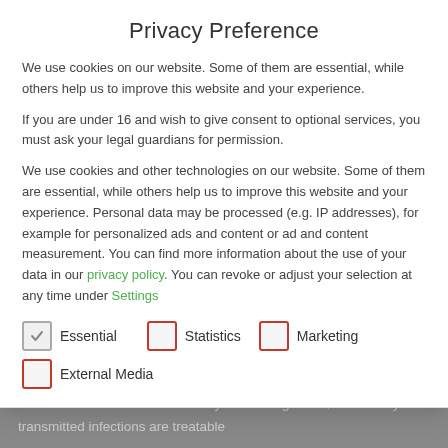Privacy Preference
We use cookies on our website. Some of them are essential, while others help us to improve this website and your experience.
If you are under 16 and wish to give consent to optional services, you must ask your legal guardians for permission.
We use cookies and other technologies on our website. Some of them are essential, while others help us to improve this website and your experience. Personal data may be processed (e.g. IP addresses), for example for personalized ads and content or ad and content measurement. You can find more information about the use of your data in our privacy policy. You can revoke or adjust your selection at any time under Settings
Essential
Statistics
Marketing
External Media
These reasons make it very important to raise awareness about the risks and to detect infections early. Once diagnosed, all sexually transmitted infections are treatable